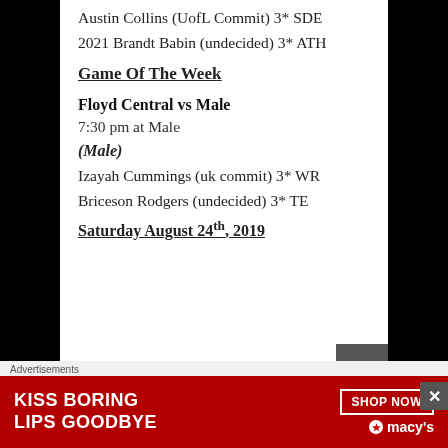Austin Collins (UofL Commit) 3* SDE
2021 Brandt Babin (undecided) 3* ATH
Game Of The Week
Floyd Central vs Male
7:30 pm at Male
(Male)
Izayah Cummings (uk commit) 3* WR
Briceson Rodgers (undecided) 3* TE
Saturday August 24th, 2019
[Figure (photo): Advertisement banner: Kiss Boring Lips Goodbye – Macy's Shop Now]